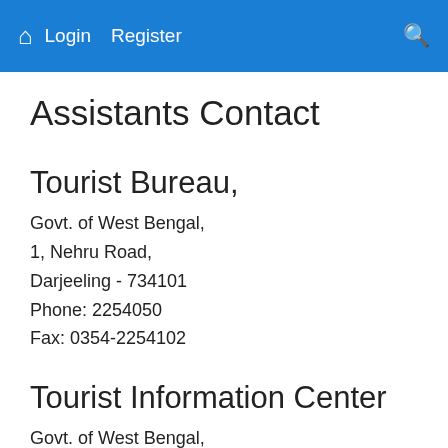🏠 Login Register 🔍
Assistants Contact
Tourist Bureau,
Govt. of West Bengal,
1, Nehru Road,
Darjeeling - 734101
Phone: 2254050
Fax: 0354-2254102
Tourist Information Center
Govt. of West Bengal,